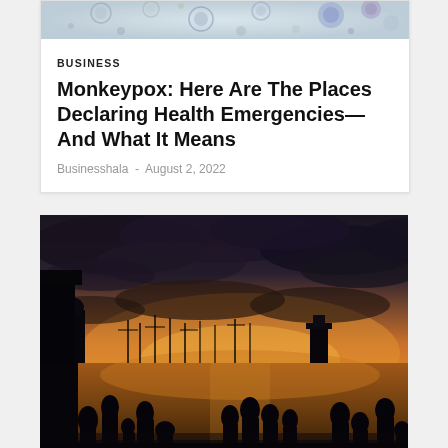[Figure (photo): Microscope image of monkeypox virus particles, showing colorful circular structures on a gray background]
BUSINESS
Monkeypox: Here Are The Places Declaring Health Emergencies—And What It Means
Businesshala - August 2, 2022
[Figure (photo): Silhouettes of a group of people gathered at a waterfront at sunset, with orange and dark cloudy sky, boats and structures visible in the background]